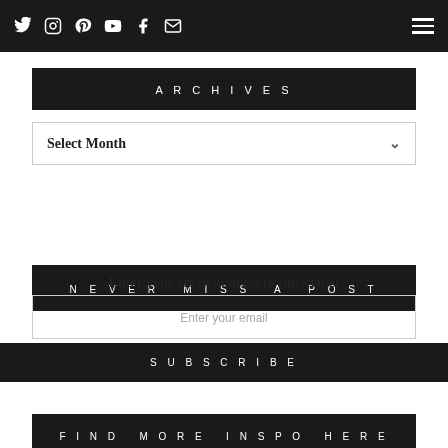Social media icons and navigation menu
ARCHIVES
Select Month
NEVER MISS A POST
Enter your email address to subscribe:
Enter your email
SUBSCRIBE
FIND MORE INSPO HERE